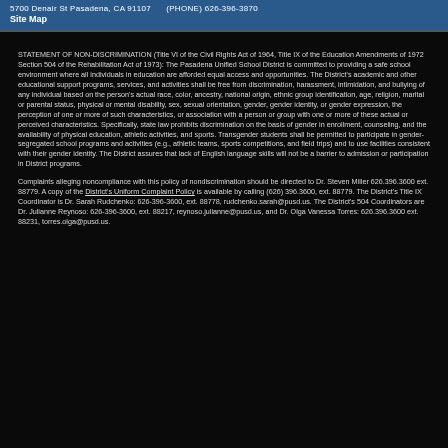5700 Denair St Pasadena, CA 91107    (PHONE) 626-396-3870
Site Map
STATEMENT OF NON-DISCRIMINATION (Title VI of the Civil Rights Act of 1964, Title IX of the Education Amendments of 1972 Section 504 of the Rehabilitation Act of 1973): The Pasadena Unified School District is committed to providing a safe school environment where all individuals in education are afforded equal access and opportunities. The District's academic and other educational support programs, services, and activities shall be free from discrimination, harassment, intimidation, and bullying of any individual based on the person's actual race, color, ancestry, national origin, ethnic group identification, age, religion, marital or parental status, physical or mental disability, sex, sexual orientation, gender, gender identity, or gender expression, the perception of one or more of such characteristics, or association with a person or group with one or more of these actual or perceived characteristics. Specifically, state law prohibits discrimination on the basis of gender in enrollment, counseling, and the availability of physical education, athletic activities, and sports. Transgender students shall be permitted to participate in gender-segregated school programs and activities (e.g., athletic teams, sports competitions, and field trips) and to use facilities consistent with their gender identity. The District assures that lack of English language skills will not be a barrier to admission or participation in District programs.
Complaints alleging noncompliance with this policy of nondiscrimination should be directed to Dr. Steven Miller 626.396.3600 ext. 88779. A copy of the District's Uniform Complaint Policy is available by calling (626) 396.3600, ext. 88779. The District's Title IX Coordinator is Dr. Sarah Rudchenko: 626-396-3600, ext. 88778, rudchenko.sarah@pusd.us. The District's 504 Coordinators are Dr. Julianne Reynoso: 626-396-3600, ext. 88217, reynoso.julianne@pusd.us, and Dr. Olga Vanessa Torres: 626.396.3600 ext. 88231, torres.olga@pusd.us.